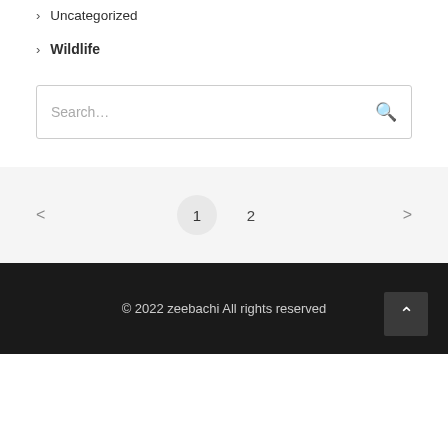> Uncategorized
> Wildlife
Search...
< 1 2 >
© 2022 zeebachi All rights reserved